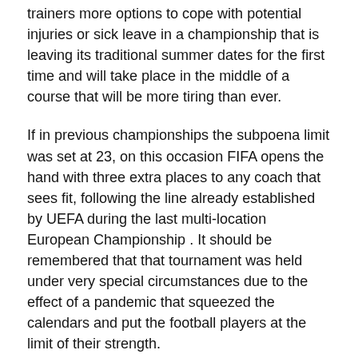trainers more options to cope with potential injuries or sick leave in a championship that is leaving its traditional summer dates for the first time and will take place in the middle of a course that will be more tiring than ever.
If in previous championships the subpoena limit was set at 23, on this occasion FIFA opens the hand with three extra places to any coach that sees fit, following the line already established by UEFA during the last multi-location European Championship . It should be remembered that that tournament was held under very special circumstances due to the effect of a pandemic that squeezed the calendars and put the football players at the limit of their strength.
Despite this, Luis Enrique subsequently called up 24 players, as it was more than enough to take on the European Championship. “At this point, I would have sued 23. A virus,